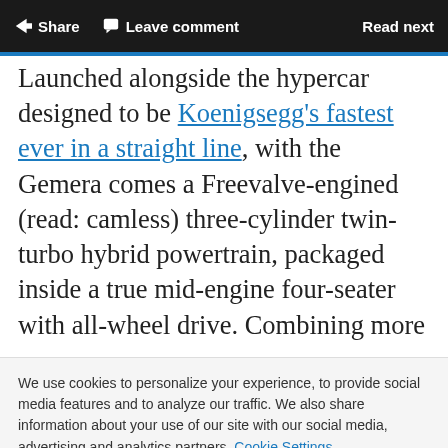Share  Leave comment  Read next
Launched alongside the hypercar designed to be Koenigsegg’s fastest ever in a straight line, with the Gemera comes a Freevalve-engined (read: camless) three-cylinder twin-turbo hybrid powertrain, packaged inside a true mid-engine four-seater with all-wheel drive. Combining more
We use cookies to personalize your experience, to provide social media features and to analyze our traffic. We also share information about your use of our site with our social media, advertising and analytics partners. Cookie Settings
Accept all cookies